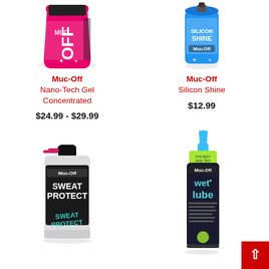[Figure (photo): Muc-Off Nano-Tech Gel Concentrated product photo - pink pouch/bottle]
Muc-Off
Nano-Tech Gel Concentrated
$24.99 - $29.99
[Figure (photo): Muc-Off Silicon Shine product photo - blue aerosol can]
Muc-Off
Silicon Shine
$12.99
[Figure (photo): Muc-Off Sweat Protect spray can - black can with graffiti style label]
[Figure (photo): Muc-Off Wet Lube bottle - dark bottle with blue nozzle tip]